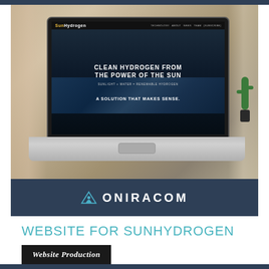[Figure (screenshot): Photo of a MacBook laptop on a wooden desk in a bright office environment. The laptop screen displays the SunHydrogen website with text 'CLEAN HYDROGEN FROM THE POWER OF THE SUN' and 'SUNLIGHT + WATER = RENEWABLE HYDROGEN' over a solar panel image, plus 'A SOLUTION THAT MAKES SENSE.' A cactus plant is visible on the right side.]
[Figure (logo): ONIRACOM logo in white on dark navy background, with a stylized bird/wing icon to the left of the text.]
WEBSITE FOR SUNHYDROGEN
Website Production